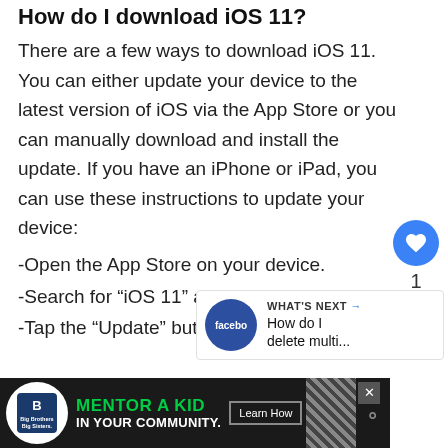How do I download iOS 11?
There are a few ways to download iOS 11. You can either update your device to the latest version of iOS via the App Store or you can manually download and install the update. If you have an iPhone or iPad, you can use these instructions to update your device:
-Open the App Store on your device.
-Search for “iOS 11” and tap the result.
-Tap the “Update” button next to iOS 11.
[Figure (infographic): Heart/like button (blue circle with white heart), count 1, and share button (grey circle with share icon) on the right sidebar]
[Figure (infographic): What's Next panel showing a Facebook-branded circle icon and text 'How do I delete multi...']
[Figure (infographic): Advertisement banner for Big Brothers Big Sisters: 'Mentor a Kid in Your Community' with Learn How button]